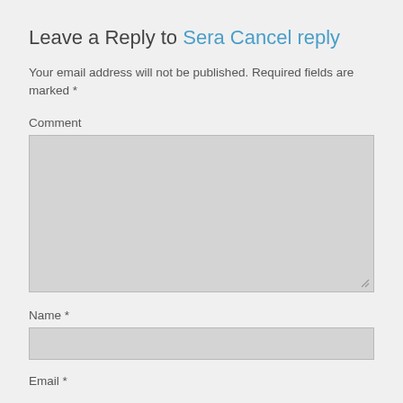Leave a Reply to Sera Cancel reply
Your email address will not be published. Required fields are marked *
Comment
Name *
Email *